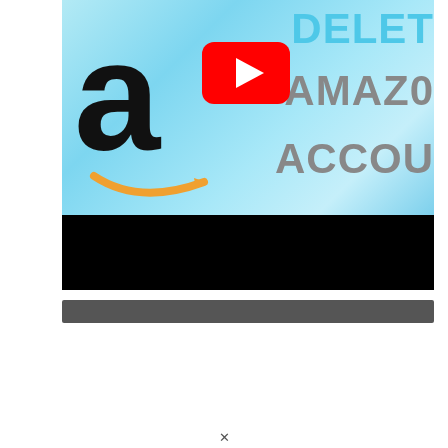[Figure (screenshot): YouTube video thumbnail showing Amazon logo with 'a' and smile arrow on light blue background, with text 'DELETE AMAZON ACCOUNT' partially visible (cropped on right). A red YouTube play button is overlaid in the center-top area. The bottom portion of the thumbnail is a black bar. Below the thumbnail is a dark gray progress/control bar.]